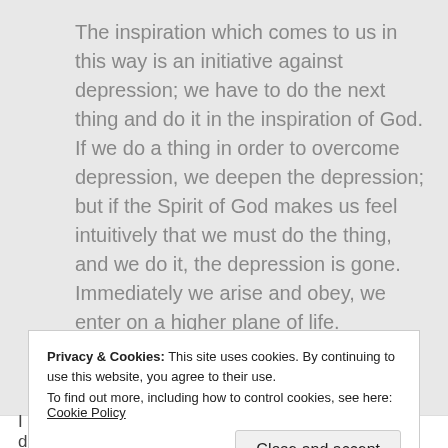The inspiration which comes to us in this way is an initiative against depression; we have to do the next thing and do it in the inspiration of God. If we do a thing in order to overcome depression, we deepen the depression; but if the Spirit of God makes us feel intuitively that we must do the thing, and we do it, the depression is gone. Immediately we arise and obey, we enter on a higher plane of life.
Privacy & Cookies: This site uses cookies. By continuing to use this website, you agree to their use. To find out more, including how to control cookies, see here: Cookie Policy
I don't think Chambers is referring to clinical depression